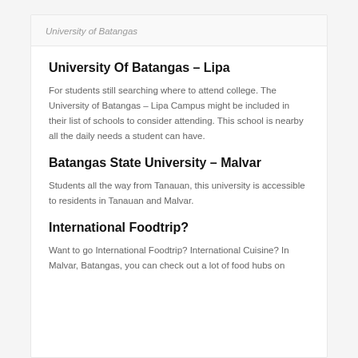University of Batangas
University Of Batangas – Lipa
For students still searching where to attend college. The University of Batangas – Lipa Campus might be included in their list of schools to consider attending. This school is nearby all the daily needs a student can have.
Batangas State University – Malvar
Students all the way from Tanauan, this university is accessible to residents in Tanauan and Malvar.
International Foodtrip?
Want to go International Foodtrip? International Cuisine? In Malvar, Batangas, you can check out a lot of food hubs on